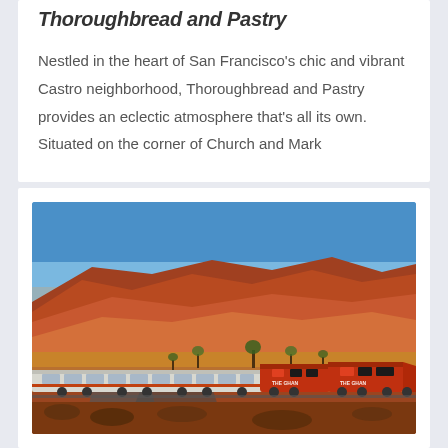Thoroughbread and Pastry
Nestled in the heart of San Francisco's chic and vibrant Castro neighborhood, Thoroughbread and Pastry provides an eclectic atmosphere that's all its own. Situated on the corner of Church and Mark
[Figure (photo): A red train (The Ghan) traveling through an arid Australian outback landscape with red rocky hills, sparse green trees, and a clear blue sky.]